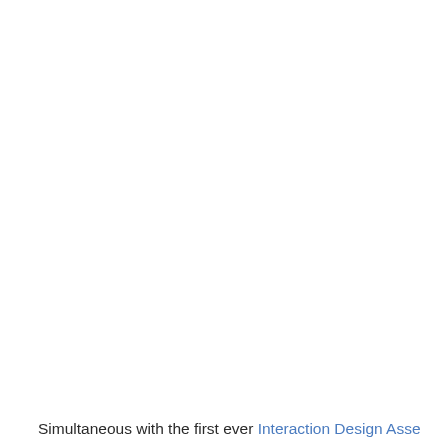Simultaneous with the first ever Interaction Design Asse